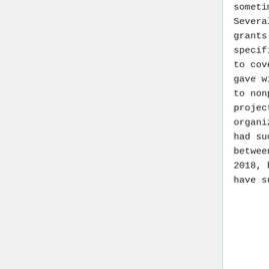sometimes not. Several of my past grants included specific provisions to cover the time I gave without charge to nonprofit OA projects and organizations. (I had such grants between 2001 and 2018, but no longer have such grants.)
sometimes not. Several of my past grants included specific provisions to cover the time I gave without charge to nonprofit OA projects and organizations. (I had such grants between 2001 and 2018, but no longer have such grants.)